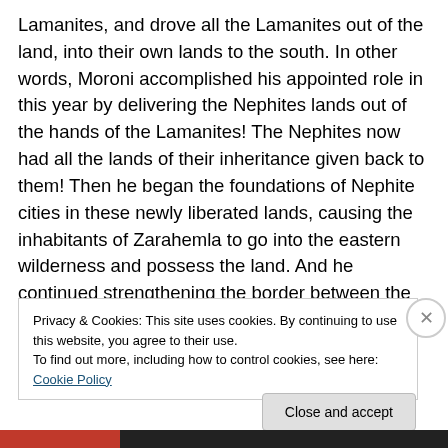Lamanites, and drove all the Lamanites out of the land, into their own lands to the south. In other words, Moroni accomplished his appointed role in this year by delivering the Nephites lands out of the hands of the Lamanites! The Nephites now had all the lands of their inheritance given back to them! Then he began the foundations of Nephite cities in these newly liberated lands, causing the inhabitants of Zarahemla to go into the eastern wilderness and possess the land. And he continued strengthening the border between the Nephite and Lamanite lands. In the 21st year, the Nephites continued to prosper in the lands of
Privacy & Cookies: This site uses cookies. By continuing to use this website, you agree to their use.
To find out more, including how to control cookies, see here: Cookie Policy
Close and accept